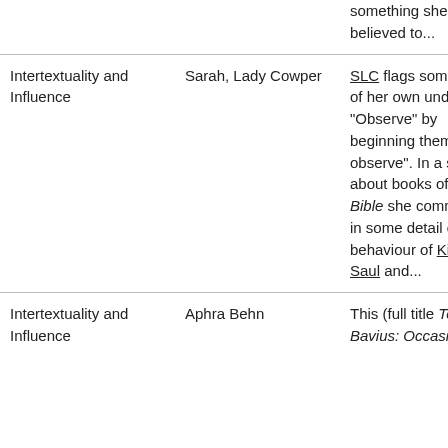| Category | Person | Description |
| --- | --- | --- |
|  |  | something she believed to... |
| Intertextuality and Influence | Sarah, Lady Cowper | SLC flags some items of her own under "Observe" by beginning them "I observe". In a series about books of the Bible she comments in some detail on the behaviour of King Saul and... |
| Intertextuality and Influence | Aphra Behn | This (full title To Poet Bavius: Occasion'd by |